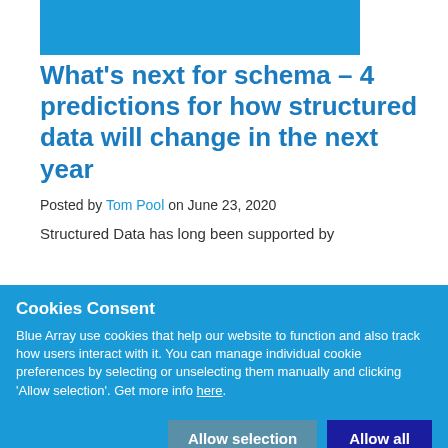[Figure (other): Blue decorative header bar]
What's next for schema – 4 predictions for how structured data will change in the next year
Posted by Tom Pool on June 23, 2020
Structured Data has long been supported by
Cookies Consent
Blue Array use cookies that help our website to function and also track how users interact with it. You can manage individual cookie preferences by selecting or unselecting them manually and clicking 'Allow selection'. Get more info here.